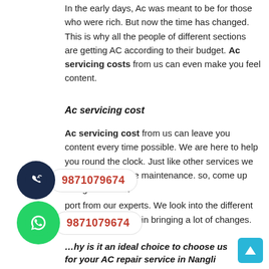In the early days, Ac was meant to be for those who were rich. But now the time has changed. This is why all the people of different sections are getting AC according to their budget. Ac servicing costs from us can even make you feel content.
Ac servicing cost
Ac servicing cost from us can leave you content every time possible. We are here to help you round the clock. Just like other services we charge less for the maintenance. so, come up and get the best support from our experts. We look into the different elements that can help in bringing a lot of changes.
[Figure (infographic): Dark navy blue circle phone icon with phone number 9871079674 in a white rounded bubble]
[Figure (infographic): Green WhatsApp icon circle with phone number 9871079674 in a white rounded bubble]
Why is it an ideal choice to choose us for your AC repair service in Nangli Sakrawati?